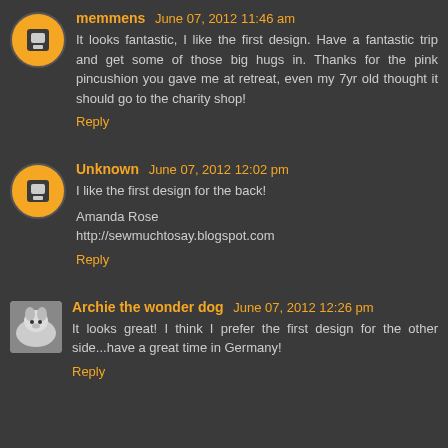memmens June 07, 2012 11:46 am
It looks fantastic, I like the first design. Have a fantastic trip and get some of those big hugs in. Thanks for the pink pincushion you gave me at retreat, even my 7yr old thought it should go to the charity shop!
Reply
Unknown June 07, 2012 12:02 pm
I like the first design for the back!
Amanda Rose
http://sewmuchtosay.blogspot.com
Reply
Archie the wonder dog June 07, 2012 12:26 pm
It looks great! I think I prefer the first design for the other side...have a great time in Germany!
Reply